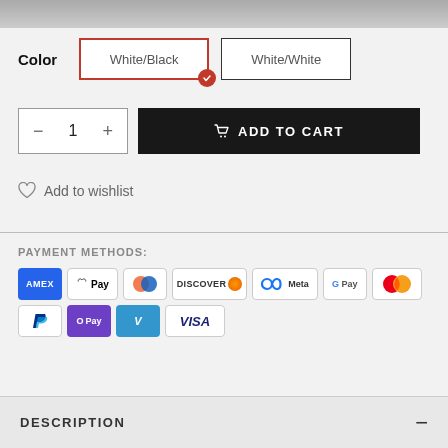[Figure (photo): Top portion of a product image, partially visible]
Color
White/Black
White/White
- 1 +
ADD TO CART
Add to wishlist
PAYMENT METHODS:
[Figure (logo): Payment method logos: AMEX, Apple Pay, Diners, Discover, Meta, Google Pay, Mastercard, PayPal, OPay, Venmo, Visa]
DESCRIPTION